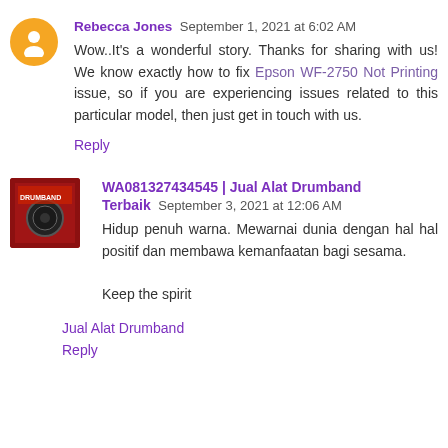Rebecca Jones  September 1, 2021 at 6:02 AM
Wow..It's a wonderful story. Thanks for sharing with us! We know exactly how to fix Epson WF-2750 Not Printing issue, so if you are experiencing issues related to this particular model, then just get in touch with us.
Reply
WA081327434545 | Jual Alat Drumband Terbaik  September 3, 2021 at 12:06 AM
Hidup penuh warna. Mewarnai dunia dengan hal hal positif dan membawa kemanfaatan bagi sesama.

Keep the spirit
Jual Alat Drumband
Reply